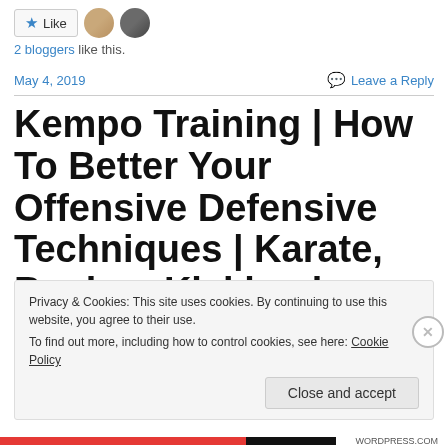Like | 2 bloggers like this.
May 4, 2019    Leave a Reply
Kempo Training | How To Better Your Offensive Defensive Techniques | Karate, Boxing, Kickboxing
Privacy & Cookies: This site uses cookies. By continuing to use this website, you agree to their use. To find out more, including how to control cookies, see here: Cookie Policy